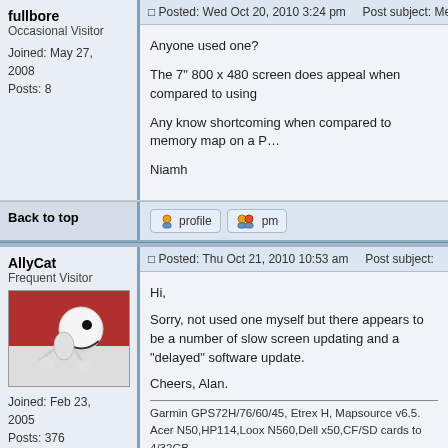fullbore
Occasional Visitor
Joined: May 27, 2008
Posts: 8
Posted: Wed Oct 20, 2010 3:24 pm    Post subject: Memory Map Adventu...
Anyone used one?

The 7" 800 x 480 screen does appeal when compared to using

Any know shortcoming when compared to memory map on a P...

Niamh
Back to top
profile   pm
AllyCat
Frequent Visitor
Joined: Feb 23, 2005
Posts: 376
Location: Catford, London, UK
Posted: Thu Oct 21, 2010 10:53 am    Post subject:
Hi,

Sorry, not used one myself but there appears to be a number of slow screen updating and a "delayed" software update.

Cheers, Alan.
Garmin GPS72H/76/60/45, Etrex H, Mapsource v6.5.
Acer N50,HP114,Loox N560,Dell x50,CF/SD cards to 4/32GB.
RoyalTek,Holux236,Navman B10 & Copilot(Globalsat) BT GPS,
Memory Map (v5.4.2 & v5.1.3 OS & Euro), GPS gate,OSGPSco...